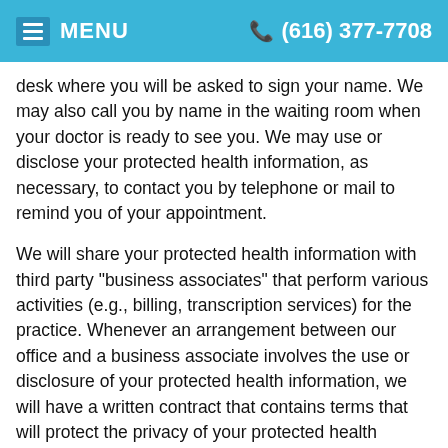MENU  (616) 377-7708
desk where you will be asked to sign your name. We may also call you by name in the waiting room when your doctor is ready to see you. We may use or disclose your protected health information, as necessary, to contact you by telephone or mail to remind you of your appointment.
We will share your protected health information with third party "business associates" that perform various activities (e.g., billing, transcription services) for the practice. Whenever an arrangement between our office and a business associate involves the use or disclosure of your protected health information, we will have a written contract that contains terms that will protect the privacy of your protected health information.
We may use or disclose your protected health information, as necessary, to provide you with information about treatment alternatives or other health-related benefits and services that may be of interest to you. We may also use and disclose your protected health information for other marketing activities. For example, your name and address may be used to send you